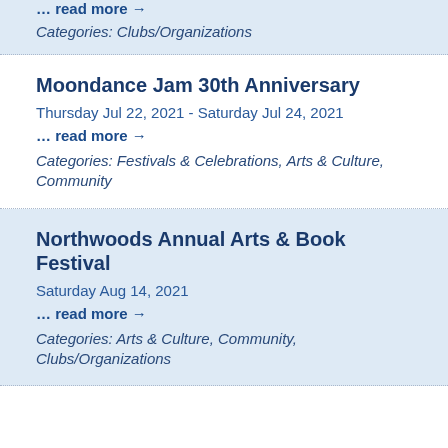... read more →
Categories: Clubs/Organizations
Moondance Jam 30th Anniversary
Thursday Jul 22, 2021 - Saturday Jul 24, 2021
... read more →
Categories: Festivals & Celebrations, Arts & Culture, Community
Northwoods Annual Arts & Book Festival
Saturday Aug 14, 2021
... read more →
Categories: Arts & Culture, Community, Clubs/Organizations